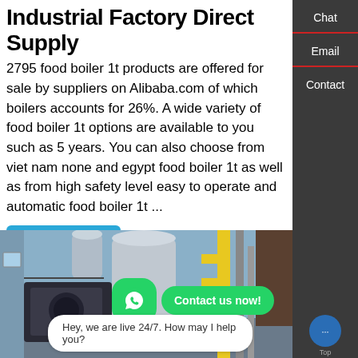Industrial Factory Direct Supply
2795 food boiler 1t products are offered for sale by suppliers on Alibaba.com of which boilers accounts for 26%. A wide variety of food boiler 1t options are available to you such as 5 years. You can also choose from viet nam none and egypt food boiler 1t as well as from high safety level easy to operate and automatic food boiler 1t ...
Learn More
[Figure (photo): Industrial factory boiler equipment in a warehouse setting with yellow pipes and machinery]
Contact us now!
Hey, we are live 24/7. How may I help you?
Chat
Email
Contact